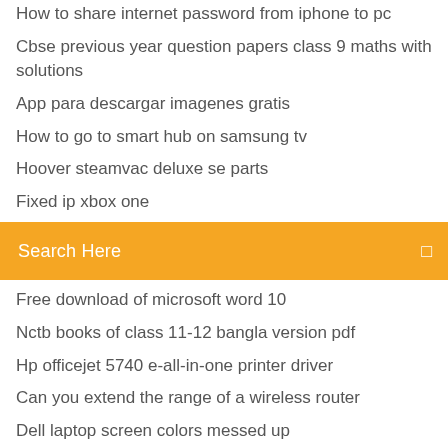How to share internet password from iphone to pc
Cbse previous year question papers class 9 maths with solutions
App para descargar imagenes gratis
How to go to smart hub on samsung tv
Hoover steamvac deluxe se parts
Fixed ip xbox one
Search Here
Free download of microsoft word 10
Nctb books of class 11-12 bangla version pdf
Hp officejet 5740 e-all-in-one printer driver
Can you extend the range of a wireless router
Dell laptop screen colors messed up
Como puedo mandar un video por mensaje en facebook
My computer monitor keeps going into power save mode
Merry christmas and happy new year 2019 in french
Dell vostro 1540 touchpad driver free download
Raptor call of the shadows full version free download